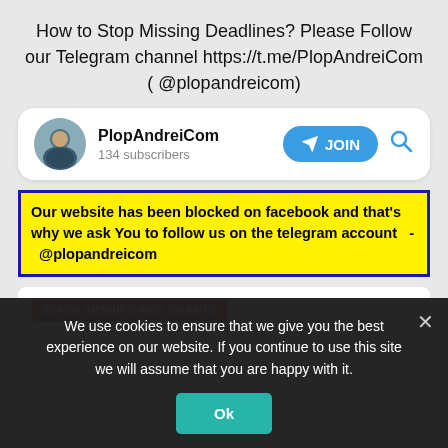How to Stop Missing Deadlines? Please Follow our Telegram channel https://t.me/PlopAndreiCom ( @plopandreicom)
[Figure (screenshot): Telegram channel card for PlopAndreiCom with avatar, 134 subscribers, a JOIN button, and a search icon]
Our website has been blocked on facebook and that's why we ask You to follow us on the telegram account  -  @plopandreicom
[Figure (screenshot): Article card with SCHOLARSHIPS AND GRANTS red tag]
We use cookies to ensure that we give you the best experience on our website. If you continue to use this site we will assume that you are happy with it.
Ok